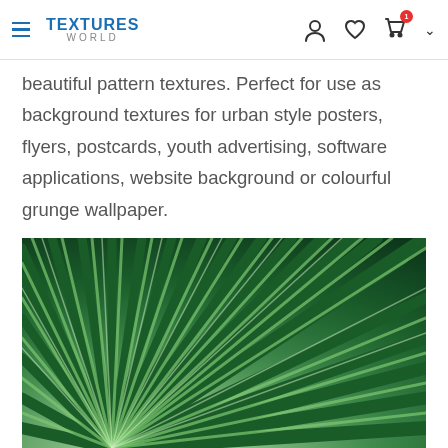TEXTURES WORLD — navigation header with hamburger menu, user icon, heart icon, cart icon
beautiful pattern textures. Perfect for use as background textures for urban style posters, flyers, postcards, youth advertising, software applications, website background or colourful grunge wallpaper.
[Figure (photo): Close-up photograph of green palm leaf fronds radiating outward from a central point, showing detailed striped texture in various shades of green with light streaks along each frond.]